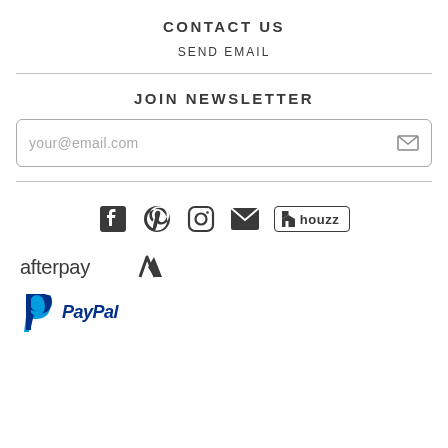CONTACT US
SEND EMAIL
JOIN NEWSLETTER
your@email.com
[Figure (logo): Social media icons row: Facebook, Pinterest, Instagram, Email, Houzz]
[Figure (logo): Afterpay logo]
[Figure (logo): PayPal logo]